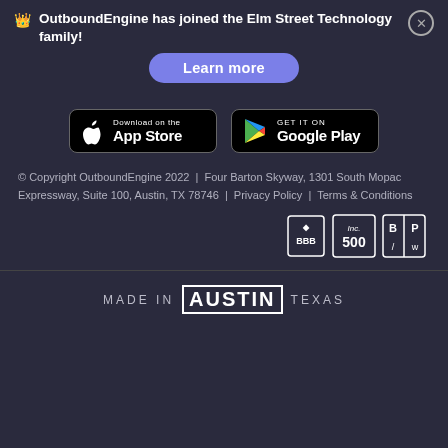OutboundEngine has joined the Elm Street Technology family!
Learn more
[Figure (screenshot): Download on the App Store button (black background with Apple logo)]
[Figure (screenshot): Get it on Google Play button (black background with Google Play triangle logo)]
© Copyright OutboundEngine 2022  |  Four Barton Skyway, 1301 South Mopac Expressway, Suite 100, Austin, TX 78746  |  Privacy Policy  |  Terms & Conditions
[Figure (logo): BBB, Inc. 500, and BP logos (trust/award badges)]
MADE IN AUSTIN TEXAS